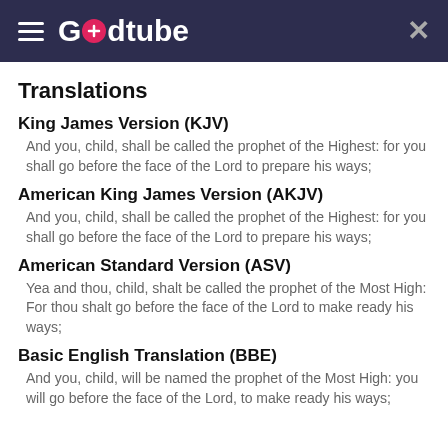Godtube
Translations
King James Version (KJV)
And you, child, shall be called the prophet of the Highest: for you shall go before the face of the Lord to prepare his ways;
American King James Version (AKJV)
And you, child, shall be called the prophet of the Highest: for you shall go before the face of the Lord to prepare his ways;
American Standard Version (ASV)
Yea and thou, child, shalt be called the prophet of the Most High: For thou shalt go before the face of the Lord to make ready his ways;
Basic English Translation (BBE)
And you, child, will be named the prophet of the Most High: you will go before the face of the Lord, to make ready his ways;